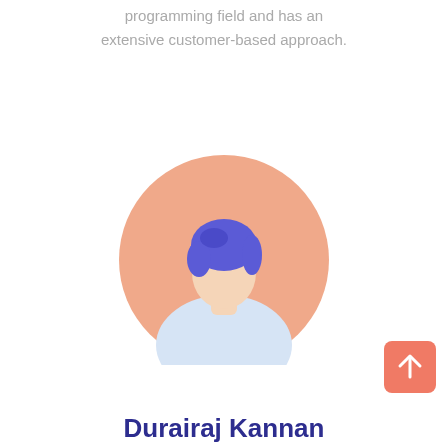programming field and has an extensive customer-based approach.
[Figure (illustration): Illustrated avatar of a person with blue hair wearing a light blue top, set inside a circular salmon/peach-colored background]
[Figure (other): Coral/orange rounded square button with a white upward arrow icon]
Durairaj Kannan